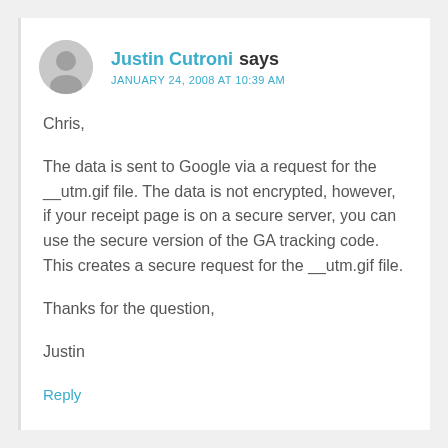Justin Cutroni says
JANUARY 24, 2008 AT 10:39 AM
Chris,

The data is sent to Google via a request for the __utm.gif file. The data is not encrypted, however, if your receipt page is on a secure server, you can use the secure version of the GA tracking code. This creates a secure request for the __utm.gif file.

Thanks for the question,

Justin
Reply